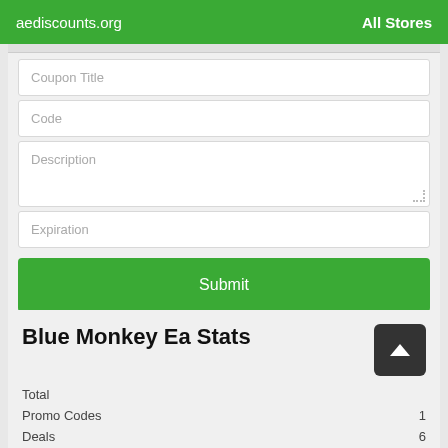aediscounts.org   All Stores
Coupon Title
Code
Description
Expiration
Submit
Blue Monkey Ea Stats
|  |  |
| --- | --- |
| Total |  |
| Promo Codes | 1 |
| Deals | 6 |
| Max Discount | 50% |
| Last Updated | August 2022 |